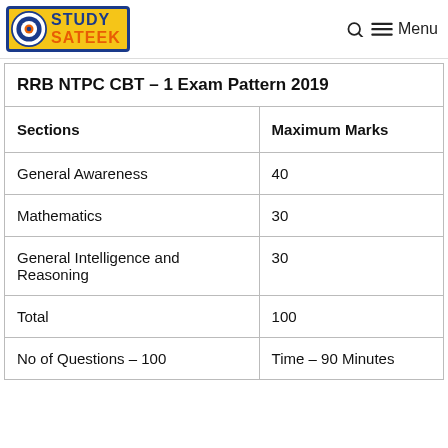STUDY SATEEK — Menu
| Sections | Maximum Marks |
| --- | --- |
| General Awareness | 40 |
| Mathematics | 30 |
| General Intelligence and Reasoning | 30 |
| Total | 100 |
| No of Questions – 100 | Time – 90 Minutes |